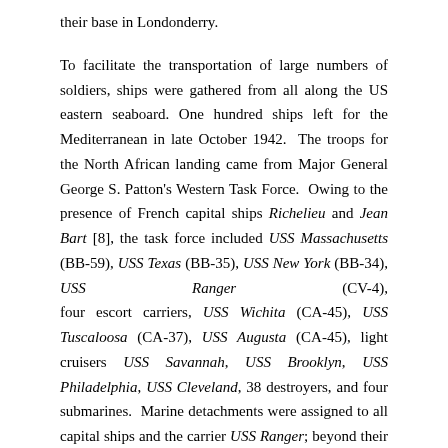their base in Londonderry.
To facilitate the transportation of large numbers of soldiers, ships were gathered from all along the US eastern seaboard. One hundred ships left for the Mediterranean in late October 1942. The troops for the North African landing came from Major General George S. Patton's Western Task Force. Owing to the presence of French capital ships Richelieu and Jean Bart [8], the task force included USS Massachusetts (BB-59), USS Texas (BB-35), USS New York (BB-34), USS Ranger (CV-4), four escort carriers, USS Wichita (CA-45), USS Tuscaloosa (CA-37), USS Augusta (CA-45), light cruisers USS Savannah, USS Brooklyn, USS Philadelphia, USS Cleveland, 38 destroyers, and four submarines. Marine detachments were assigned to all capital ships and the carrier USS Ranger; beyond their security duties, the detachments were trained to man naval guns and conduct amphibious operations ashore
Unlike its army, the French Navy was full of fight and